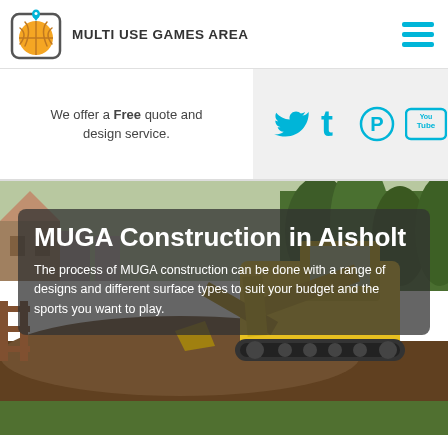[Figure (logo): Multi Use Games Area logo: basketball icon in a rounded square with a location pin, next to bold text MULTI USE GAMES AREA]
We offer a Free quote and design service.
[Figure (infographic): Social media icons: Twitter bird, Tumblr t, Pinterest P, YouTube logo, all in cyan/teal color on light grey background]
[Figure (photo): Construction site photo showing a yellow excavator digging earth, with trees and houses in background. Overlaid with a dark semi-transparent box containing title and description text.]
MUGA Construction in Aisholt
The process of MUGA construction can be done with a range of designs and different surface types to suit your budget and the sports you want to play.